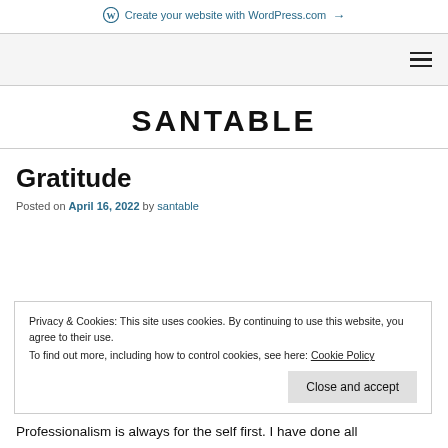Create your website with WordPress.com →
[Figure (logo): WordPress logo and site header with hamburger menu]
SANTABLE
Gratitude
Posted on April 16, 2022 by santable
Privacy & Cookies: This site uses cookies. By continuing to use this website, you agree to their use. To find out more, including how to control cookies, see here: Cookie Policy
Professionalism is always for the self first. I have done all